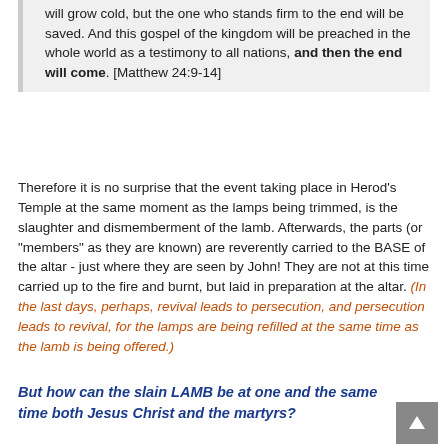will grow cold, but the one who stands firm to the end will be saved. And this gospel of the kingdom will be preached in the whole world as a testimony to all nations, and then the end will come. [Matthew 24:9-14]
Therefore it is no surprise that the event taking place in Herod's Temple at the same moment as the lamps being trimmed, is the slaughter and dismemberment of the lamb. Afterwards, the parts (or "members" as they are known) are reverently carried to the BASE of the altar - just where they are seen by John! They are not at this time carried up to the fire and burnt, but laid in preparation at the altar. (In the last days, perhaps, revival leads to persecution, and persecution leads to revival, for the lamps are being refilled at the same time as the lamb is being offered.)
But how can the slain LAMB be at one and the same time both Jesus Christ and the martyrs?